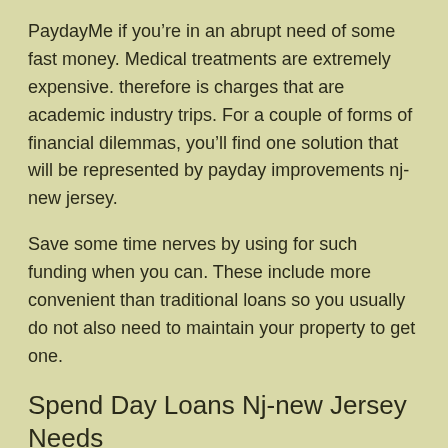PaydayMe if you're in an abrupt need of some fast money. Medical treatments are extremely expensive. therefore is charges that are academic industry trips. For a couple of forms of financial dilemmas, you'll find one solution that will be represented by payday improvements nj-new jersey.
Save some time nerves by using for such funding when you can. These include more convenient than traditional loans so you usually do not also need to maintain your property to get one.
Spend Day Loans Nj-new Jersey Needs
Their state regarding the latest Jersey features a legislation that limits payday credits. Those organizations that need certainly to provide loans should be accountable for a permit in order to store registers with a